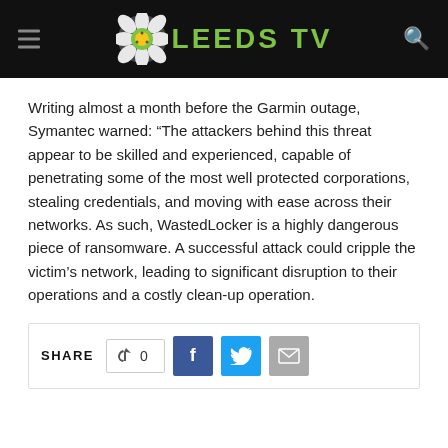LEEDS TV
Writing almost a month before the Garmin outage, Symantec warned: “The attackers behind this threat appear to be skilled and experienced, capable of penetrating some of the most well protected corporations, stealing credentials, and moving with ease across their networks. As such, WastedLocker is a highly dangerous piece of ransomware. A successful attack could cripple the victim’s network, leading to significant disruption to their operations and a costly clean-up operation.
SHARE  0
Paolo Sorbello